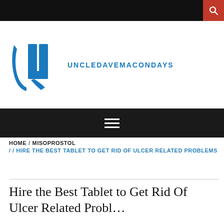UNCLEDAVEMACONDAYS
HOME / MISOPROSTOL // HIRE THE BEST TABLET TO GET RID OF ULCER RELATED PROBLEMS
Hire the Best Tablet to Get Rid Of Ulcer Related Problems